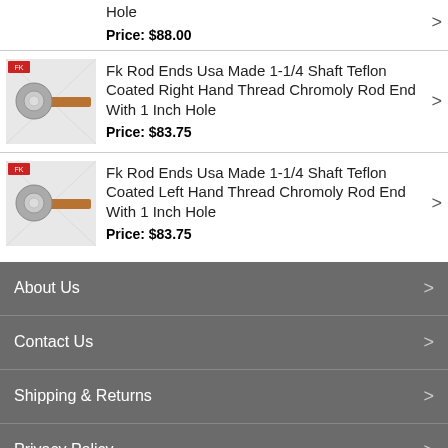Hole
Price: $88.00
Fk Rod Ends Usa Made 1-1/4 Shaft Teflon Coated Right Hand Thread Chromoly Rod End With 1 Inch Hole
Price: $83.75
Fk Rod Ends Usa Made 1-1/4 Shaft Teflon Coated Left Hand Thread Chromoly Rod End With 1 Inch Hole
Price: $83.75
About Us
Contact Us
Shipping & Returns
Privacy Policy
© 2022 Pacific Customs Unlimited, Inc.. All rights reserved.
Mobile   Desktop